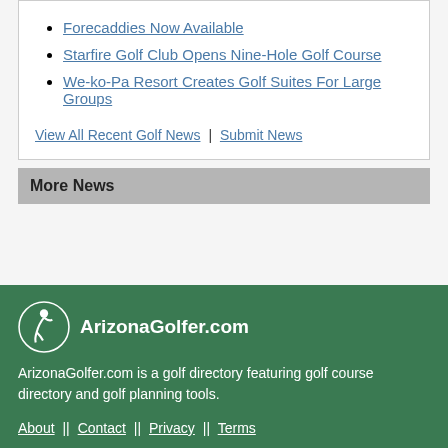Forecaddies Now Available
Starfire Golf Club Opens Nine-Hole Golf Course
We-ko-Pa Resort Creates Golf Suites For Large Groups
View All Recent Golf News | Submit News
More News
[Figure (logo): ArizonaGolfer.com logo with golfer icon]
ArizonaGolfer.com is a golf directory featuring golf course directory and golf planning tools.
About || Contact || Privacy || Terms